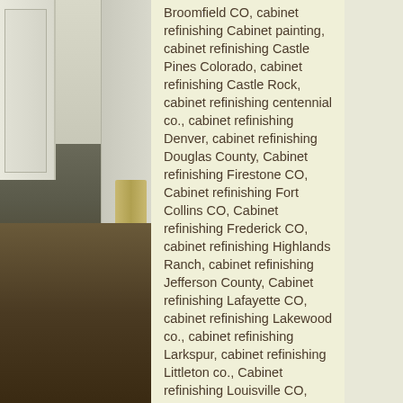[Figure (photo): Interior photo of a home hallway or kitchen area with white cabinetry on the left, a curtain visible, and dark hardwood floors.]
Broomfield CO, cabinet refinishing Cabinet painting, cabinet refinishing Castle Pines Colorado, cabinet refinishing Castle Rock, cabinet refinishing centennial co., cabinet refinishing Denver, cabinet refinishing Douglas County, Cabinet refinishing Firestone CO, Cabinet refinishing Fort Collins CO, Cabinet refinishing Frederick CO, cabinet refinishing Highlands Ranch, cabinet refinishing Jefferson County, Cabinet refinishing Lafayette CO, cabinet refinishing Lakewood co., cabinet refinishing Larkspur, cabinet refinishing Littleton co., Cabinet refinishing Louisville CO, Cabinet refinishing Mead CO, cabinet refinishing Northglenn Co, cabinet refinishing Parker, Cabinet refinishing superior CO, cabinet refinishing Thornton CO, cabinet refinishing Westminister Co, cabinet refinishing Westminster CO, cabinet refinishing Wheat Ridge Co, company painting Centennial CO, kitchen cabinet glazing, kitchen cabinet painters, kitchen cabinet painting, kitchen cabinet refinishing, Painting kitchen cabinets Arvada CO, painting kitchen cabinets Aurora, painting kitchen cabinets Boulder, Painting kitchen cabinets Boulder CO, Painting kitchen cabinets Broomfield CO, painting kitchen